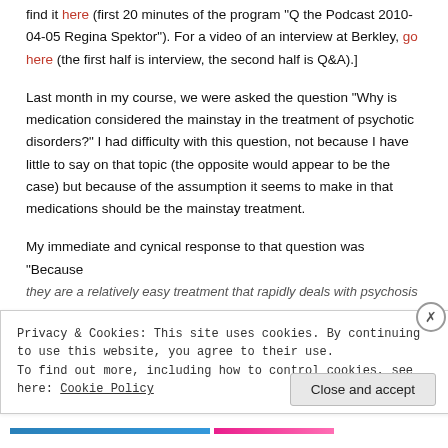find it here (first 20 minutes of the program "Q the Podcast 2010-04-05 Regina Spektor"). For a video of an interview at Berkley, go here (the first half is interview, the second half is Q&A).]
Last month in my course, we were asked the question “Why is medication considered the mainstay in the treatment of psychotic disorders?” I had difficulty with this question, not because I have little to say on that topic (the opposite would appear to be the case) but because of the assumption it seems to make in that medications should be the mainstay treatment.
My immediate and cynical response to that question was “Because they are a relatively easy treatment that rapidly deals with psychosis
Privacy & Cookies: This site uses cookies. By continuing to use this website, you agree to their use.
To find out more, including how to control cookies, see here: Cookie Policy